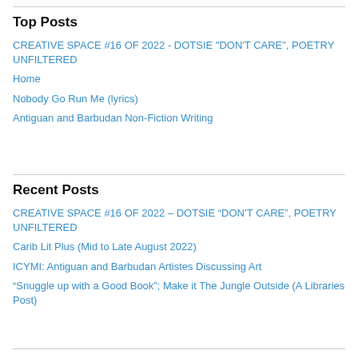Top Posts
CREATIVE SPACE #16 OF 2022 - DOTSIE "DON'T CARE", POETRY UNFILTERED
Home
Nobody Go Run Me (lyrics)
Antiguan and Barbudan Non-Fiction Writing
Recent Posts
CREATIVE SPACE #16 OF 2022 – DOTSIE “DON’T CARE”, POETRY UNFILTERED
Carib Lit Plus (Mid to Late August 2022)
ICYMI: Antiguan and Barbudan Artistes Discussing Art
“Snuggle up with a Good Book”; Make it The Jungle Outside (A Libraries Post)